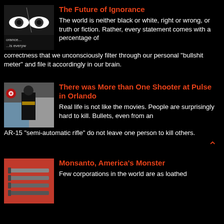[Figure (photo): Black and white close-up photo of eyes, with text 'orance... ...is everyw' visible]
The Future of Ignorance
The world is neither black or white, right or wrong, or truth or fiction. Rather, every statement comes with a percentage of correctness that we unconsciously filter through our personal “bullshit meter” and file it accordingly in our brain.
[Figure (photo): Photo of a person in black tactical gear/SWAT uniform walking near a red Target store sign and vehicles]
There was More than One Shooter at Pulse in Orlando
Real life is not like the movies. People are surprisingly hard to kill. Bullets, even from an AR-15 “semi-automatic rifle” do not leave one person to kill others.
[Figure (photo): Photo with red background showing various items including what appear to be weapons or tools]
Monsanto, America’s Monster
Few corporations in the world are as loathed